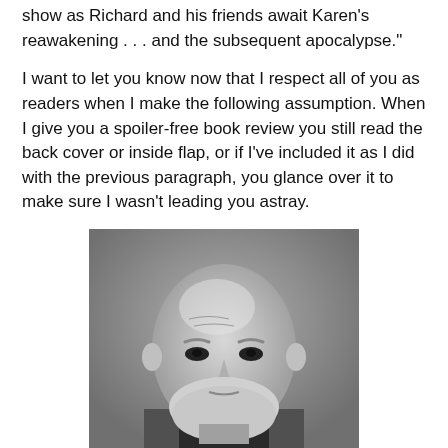show as Richard and his friends await Karen's reawakening . . . and the subsequent apocalypse."
I want to let you know now that I respect all of you as readers when I make the following assumption. When I give you a spoiler-free book review you still read the back cover or inside flap, or if I've included it as I did with the previous paragraph, you glance over it to make sure I wasn't leading you astray.
[Figure (photo): Black and white portrait photo of an older bald man with a white beard, looking directly at the camera with a serious expression.]